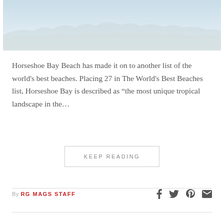[Figure (photo): Faded beach/coastal landscape photo with light blue sky and trees in the background]
Horseshoe Bay Beach has made it on to another list of the world's best beaches. Placing 27 in The World's Best Beaches list, Horseshoe Bay is described as “the most unique tropical landscape in the…
KEEP READING
By RG MAGS STAFF